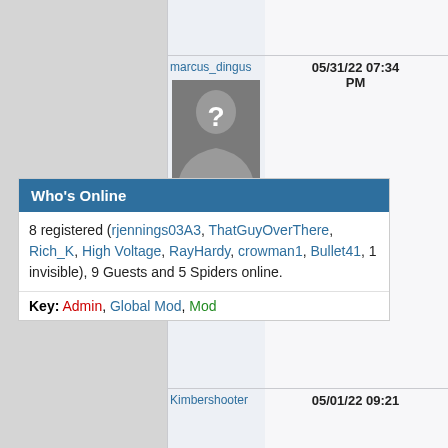marcus_dingus  05/31/22 07:34 PM
[Figure (illustration): Default avatar placeholder - gray silhouette of a person with a question mark]
Who's Online
8 registered (rjennings03A3, ThatGuyOverThere, Rich_K, High Voltage, RayHardy, crowman1, Bullet41, 1 invisible), 9 Guests and 5 Spiders online.
Key: Admin, Global Mod, Mod
Kimbershooter  05/01/22 09:21